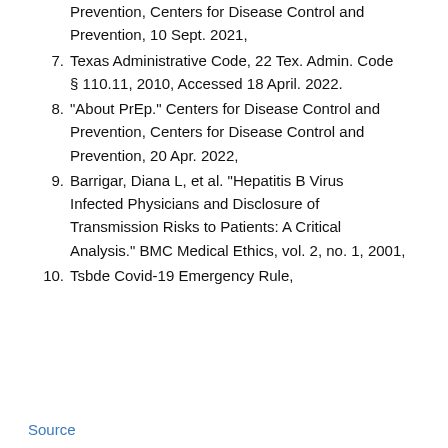Prevention, Centers for Disease Control and Prevention, 10 Sept. 2021,
7. Texas Administrative Code, 22 Tex. Admin. Code § 110.11, 2010, Accessed 18 April. 2022.
8. "About PrEp." Centers for Disease Control and Prevention, Centers for Disease Control and Prevention, 20 Apr. 2022,
9. Barrigar, Diana L, et al. "Hepatitis B Virus Infected Physicians and Disclosure of Transmission Risks to Patients: A Critical Analysis." BMC Medical Ethics, vol. 2, no. 1, 2001,
10. Tsbde Covid-19 Emergency Rule,
Source